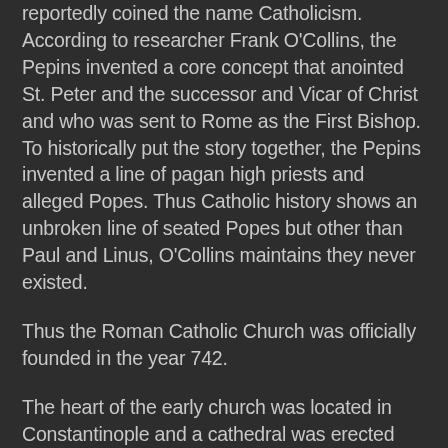reportedly coined the name Catholicism. According to researcher Frank O'Collins, the Pepins invented a core concept that anointed St. Peter and the successor and Vicar of Christ and who was sent to Rome as the First Bishop. To historically put the story together, the Pepins invented a line of pagan high priests and alleged Popes. Thus Catholic history shows an unbroken line of seated Popes but other than Paul and Linus, O'Collins maintains they never existed.
Thus the Roman Catholic Church was officially founded in the year 742.
The heart of the early church was located in Constantinople and a cathedral was erected there near the imperial palace in the year 360. It was known as Magna Ecclesia, or "Great Church." An earlier church, Hagia Eirene, served as the main cathedral until the Great Church was completed.